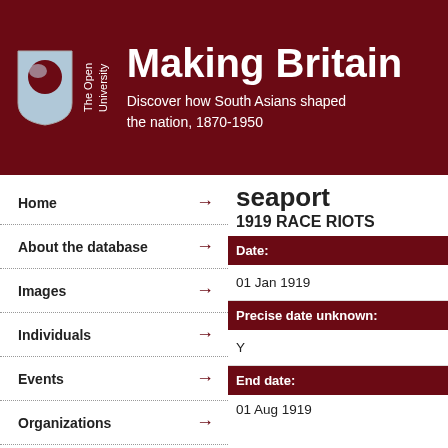[Figure (logo): The Open University shield logo with dark red background and stylized OU emblem in blue/white]
Making Britain
Discover how South Asians shaped the nation, 1870-1950
Home →
About the database →
Images →
Individuals →
Events →
Organizations →
seaport
1919 RACE RIOTS
| Field | Value |
| --- | --- |
| Date: | 01 Jan 1919 |
| Precise date unknown: | Y |
| End date: | 01 Aug 1919 |